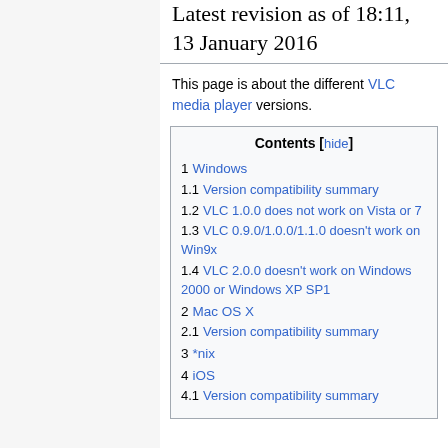Latest revision as of 18:11, 13 January 2016
This page is about the different VLC media player versions.
| Contents |
| --- |
| 1 Windows |
| 1.1 Version compatibility summary |
| 1.2 VLC 1.0.0 does not work on Vista or 7 |
| 1.3 VLC 0.9.0/1.0.0/1.1.0 doesn't work on Win9x |
| 1.4 VLC 2.0.0 doesn't work on Windows 2000 or Windows XP SP1 |
| 2 Mac OS X |
| 2.1 Version compatibility summary |
| 3 *nix |
| 4 iOS |
| 4.1 Version compatibility summary |